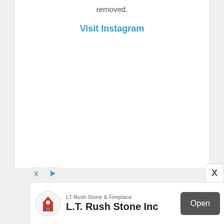removed.
Visit Instagram
[Figure (screenshot): White card area showing partial text 'removed.' and a blue 'Visit Instagram' link]
X
LT Rush Stone & Fireplace
L.T. Rush Stone Inc
Open